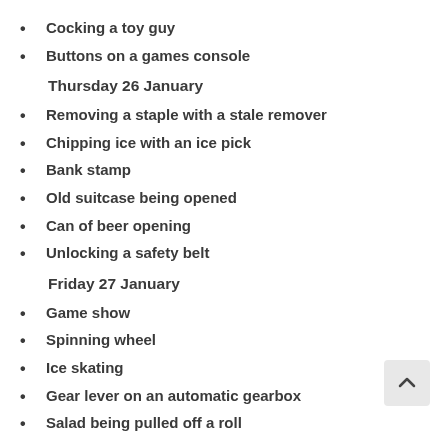Cocking a toy guy
Buttons on a games console
Thursday 26 January
Removing a staple with a stale remover
Chipping ice with an ice pick
Bank stamp
Old suitcase being opened
Can of beer opening
Unlocking a safety belt
Friday 27 January
Game show
Spinning wheel
Ice skating
Gear lever on an automatic gearbox
Salad being pulled off a roll